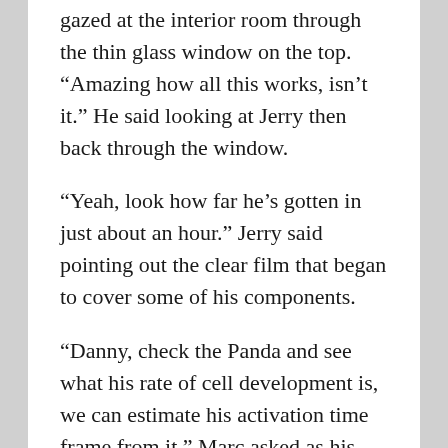gazed at the interior room through the thin glass window on the top. “Amazing how all this works, isn’t it.” He said looking at Jerry then back through the window.
“Yeah, look how far he’s gotten in just about an hour.” Jerry said pointing out the clear film that began to cover some of his components.
“Danny, check the Panda and see what his rate of cell development is, we can estimate his activation time frame from it.” Marc asked as his eyes remained glued to the terminal in front of him.